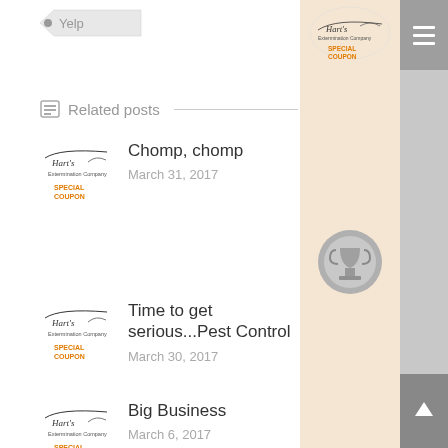Yelp
Related posts
Chomp, chomp
March 31, 2017
Time to get serious...Pest Control
March 30, 2017
Big Business
March 6, 2017